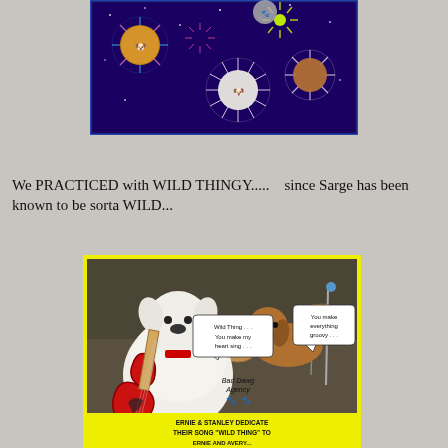[Figure (photo): Composite photo of dogs' faces arranged in fireworks/sparkle display against a dark purple night sky background. Multiple dog faces (fluffy dogs and a dachshund) are superimposed on colorful firework bursts.]
We PRACTICED with WILD THINGY.....   since Sarge has been known to be sorta WILD...
[Figure (photo): Comic photo of dogs playing instruments. A white fluffy dog holds a red electric guitar in the foreground; a dachshund is at a drum kit in the background. Speech bubbles read 'Wild Thing... You make my heart sing...' and 'You make everything groovy...'. Text at bottom reads 'Bad Dawg Agency' with paw prints and 'ERNIE & STANLEY DEDICATE THEIR SONG "WILD THING" TO ...' The image has a yellow border.]